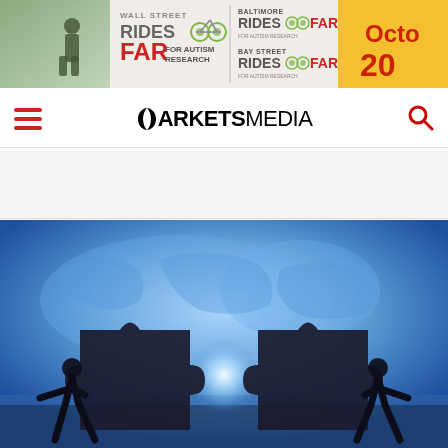[Figure (illustration): Banner advertisement for 'Rides Far for Autism Research' charity cycling events in Wall Street, Baltimore, and Bay Street, with date showing October 20-something on yellow background]
MARKETS MEDIA
[Figure (photo): Two silhouetted figures pushing large puzzle pieces together in front of a world map background with blue tones, symbolizing global partnership or merger]